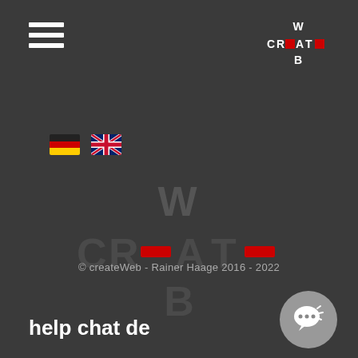[Figure (logo): Hamburger menu icon (three white horizontal bars) in top left corner]
[Figure (logo): WebCreate logo in top right corner with stylized W, CREATE, B text in white and red]
[Figure (logo): German flag and UK flag icons for language selection]
[Figure (logo): Large faded watermark of WebCreate logo centered in page with red accent dashes]
© createWeb - Rainer Haage 2016 - 2022
help chat de
[Figure (illustration): Gray circular chat bubble icon in bottom right corner]